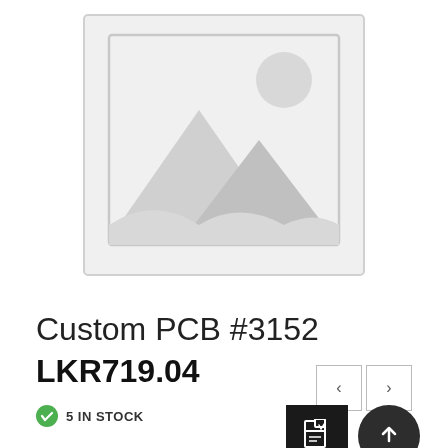[Figure (illustration): Placeholder product image with mountain/landscape icon and circle, light grey tones on white background]
Custom PCB #3152
LKR719.04
5 IN STOCK